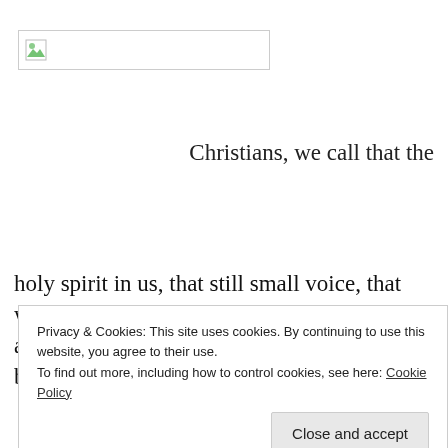[Figure (logo): Broken image placeholder with small green icon in a rectangular border box]
Christians, we call that the
holy spirit in us, that still small voice, that when we listen and allow guides us towards Gods will. Non-believers, you might
Privacy & Cookies: This site uses cookies. By continuing to use this website, you agree to their use.
To find out more, including how to control cookies, see here: Cookie Policy
Close and accept